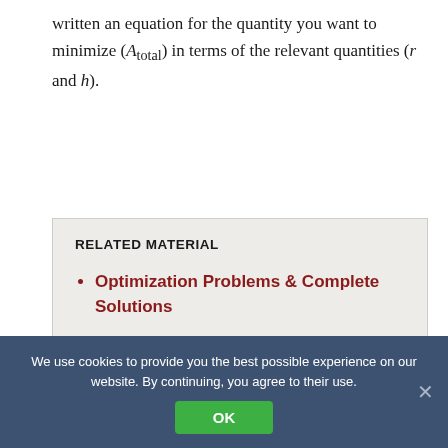written an equation for the quantity you want to minimize (A_total) in terms of the relevant quantities (r and h).
RELATED MATERIAL
Optimization Problems & Complete Solutions
Step 3
We use cookies to provide you the best possible experience on our website. By continuing, you agree to their use.
OK